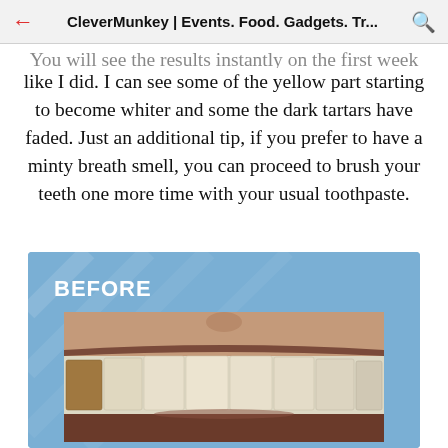CleverMunkey | Events. Food. Gadgets. Tr...
You will see the results instantly on the first week like I did. I can see some of the yellow part starting to become whiter and some the dark tartars have faded. Just an additional tip, if you prefer to have a minty breath smell, you can proceed to brush your teeth one more time with your usual toothpaste.
[Figure (photo): A before-and-after teeth whitening image showing 'BEFORE' label with a close-up photo of teeth with some staining/tartar on a blue background]